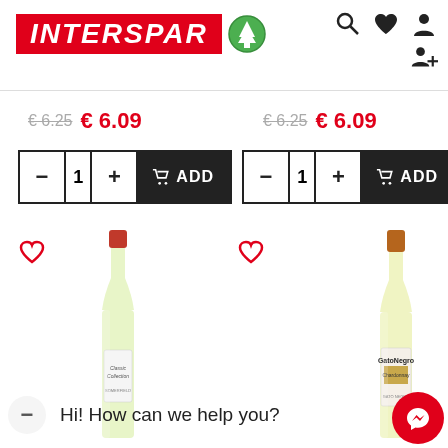[Figure (logo): INTERSPAR logo with red background text and green tree icon]
[Figure (screenshot): E-commerce product page showing two wine product listings with prices €6.25 (strikethrough) and €6.09, quantity selectors, and ADD to cart buttons]
€ 6.25  € 6.09
€ 6.25  € 6.09
Hi! How can we help you?